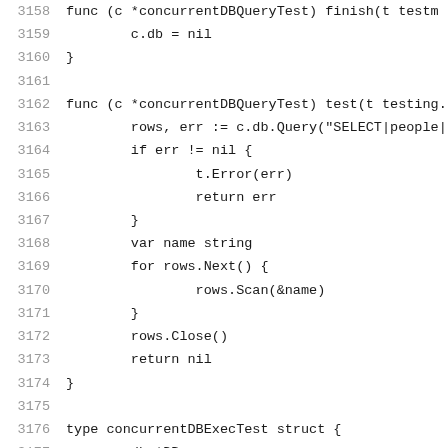[Figure (other): Source code listing in Go language, lines 3158-3179, showing concurrentDBQueryTest finish and test methods, and concurrentDBExecTest struct definition]